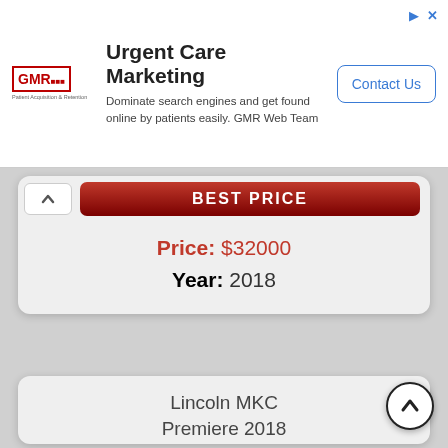[Figure (screenshot): GMR Web Team advertisement banner for Urgent Care Marketing. Logo on left, heading 'Urgent Care Marketing', description text, and 'Contact Us' button on right.]
Urgent Care Marketing
Dominate search engines and get found online by patients easily. GMR Web Team
Price: $32000
Year: 2018
Lincoln MKC Premiere 2018
[Figure (photo): Photo of a dark colored Lincoln MKC SUV parked outdoors with bare trees in background. Dealership watermark visible: 678-344-3673, www.allanysolllincoln.com]